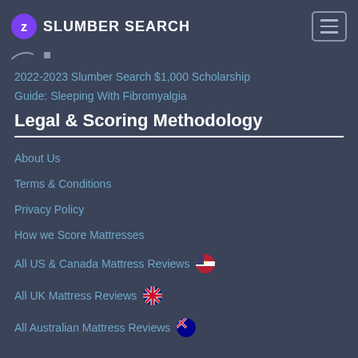SLUMBER SEARCH
2022-2023 Slumber Search $1,000 Scholarship
Guide: Sleeping With Fibromyalgia
Legal & Scoring Methodology
About Us
Terms & Conditions
Privacy Policy
How we Score Mattresses
All US & Canada Mattress Reviews
All UK Mattress Reviews
All Australian Mattress Reviews